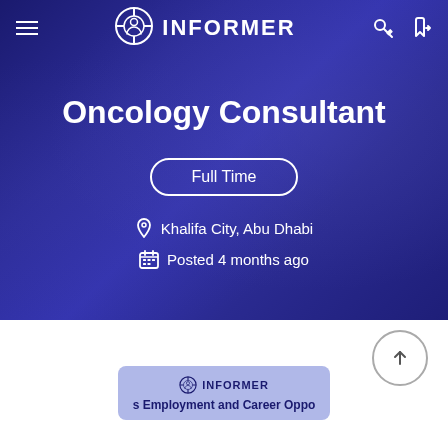[Figure (screenshot): INFORMER website header/navbar with hamburger menu, crosshair person logo, INFORMER text, key icon and login icon on dark blue background]
Oncology Consultant
Full Time
Khalifa City, Abu Dhabi
Posted 4 months ago
[Figure (screenshot): Partial bottom card showing INFORMER logo and text 's Employment and Career Oppo' on a light blue-purple background]